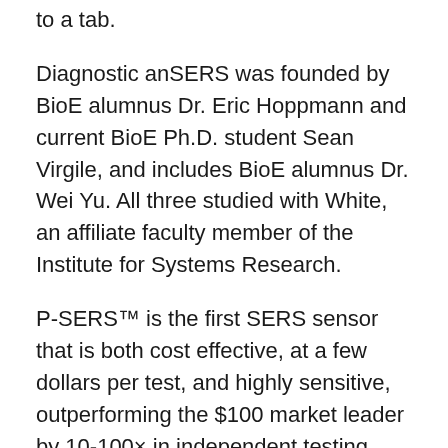to a tab.
Diagnostic anSERS was founded by BioE alumnus Dr. Eric Hoppmann and current BioE Ph.D. student Sean Virgile, and includes BioE alumnus Dr. Wei Yu. All three studied with White, an affiliate faculty member of the Institute for Systems Research.
P-SERS™ is the first SERS sensor that is both cost effective, at a few dollars per test, and highly sensitive, outperforming the $100 market leader by 10-100× in independent testing. While existing substrates are rigid sensors on silicon wafers, P-SERS™ substrates are flexible and can be used as dipsticks or surface swabs as well as a cost-effective alternative to existing silicon wafer substrates. Diagnostic anSERS is able to achieve